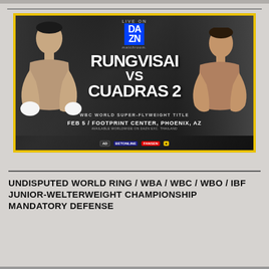[Figure (photo): Boxing promotional poster for Rungvisai vs Cuadras 2, WBC World Super-Flyweight Title, Feb 5, Footprint Center, Phoenix, AZ. Live on DAZN / Matchroom.]
UNDISPUTED WORLD RING / WBA / WBC / WBO / IBF JUNIOR-WELTERWEIGHT CHAMPIONSHIP MANDATORY DEFENSE